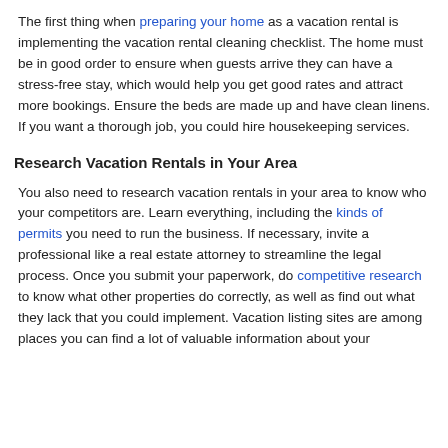The first thing when preparing your home as a vacation rental is implementing the vacation rental cleaning checklist. The home must be in good order to ensure when guests arrive they can have a stress-free stay, which would help you get good rates and attract more bookings. Ensure the beds are made up and have clean linens. If you want a thorough job, you could hire housekeeping services.
Research Vacation Rentals in Your Area
You also need to research vacation rentals in your area to know who your competitors are. Learn everything, including the kinds of permits you need to run the business. If necessary, invite a professional like a real estate attorney to streamline the legal process. Once you submit your paperwork, do competitive research to know what other properties do correctly, as well as find out what they lack that you could implement. Vacation listing sites are among places you can find a lot of valuable information about your